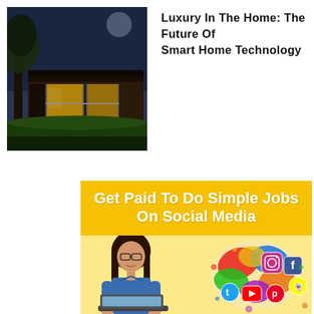[Figure (photo): Modern luxury house exterior at dusk with large glass windows and trees]
Luxury In The Home: The Future Of Smart Home Technology
[Figure (infographic): Yellow advertisement banner: 'Get Paid To Do Simple Jobs On Social Media' with a woman using a laptop and colorful social media icons]